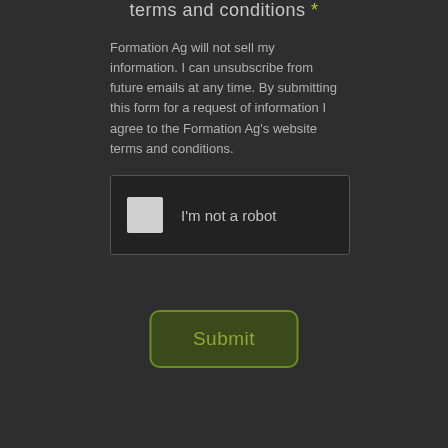terms and conditions *
Formation Ag will not sell my information. I can unsubscribe from future emails at any time. By submitting this form for a request of information I agree to the Formation Ag's website terms and conditions.
[Figure (other): reCAPTCHA checkbox widget with checkbox and 'I'm not a robot' label]
Submit